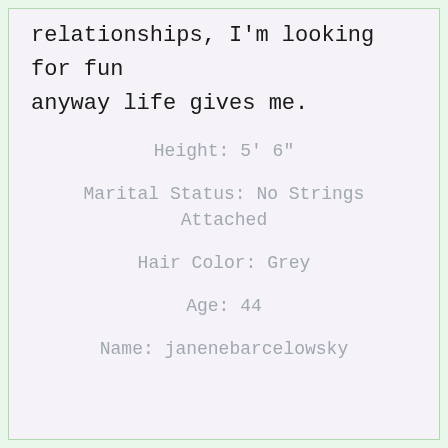relationships, I'm looking for fun anyway life gives me.
Height: 5' 6"
Marital Status: No Strings Attached
Hair Color: Grey
Age: 44
Name: janenebarcelowsky